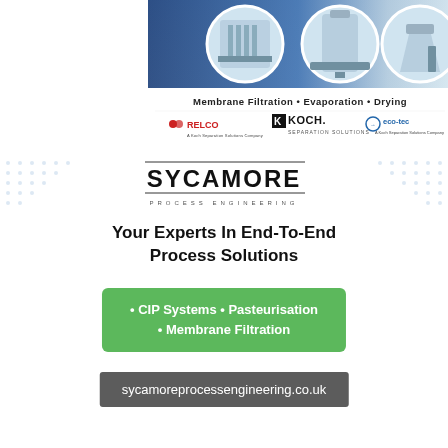[Figure (illustration): Top advertisement banner for Koch Separation Solutions showing industrial membrane filtration, evaporation, and drying equipment with circular inset photos, logos for RELCO, KOCH Separation Solutions, and ECO-TEC, and text 'Membrane Filtration • Evaporation • Drying']
[Figure (logo): SYCAMORE PROCESS ENGINEERING logo with company name in large bold letters and subtitle in spaced caps]
Your Experts In End-To-End Process Solutions
• CIP Systems • Pasteurisation • Membrane Filtration
sycamoreprocessengineering.co.uk